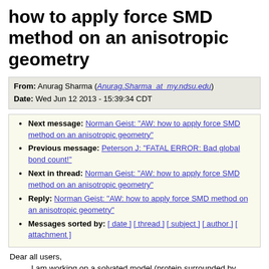how to apply force SMD method on an anisotropic geometry
From: Anurag Sharma (Anurag.Sharma_at_my.ndsu.edu)
Date: Wed Jun 12 2013 - 15:39:34 CDT
Next message: Norman Geist: "AW: how to apply force SMD method on an anisotropic geometry"
Previous message: Peterson J: "FATAL ERROR: Bad global bond count!"
Next in thread: Norman Geist: "AW: how to apply force SMD method on an anisotropic geometry"
Reply: Norman Geist: "AW: how to apply force SMD method on an anisotropic geometry"
Messages sorted by: [ date ] [ thread ] [ subject ] [ author ] [ attachment ]
Dear all users,
I am working on a solvated model (protein surrounded by